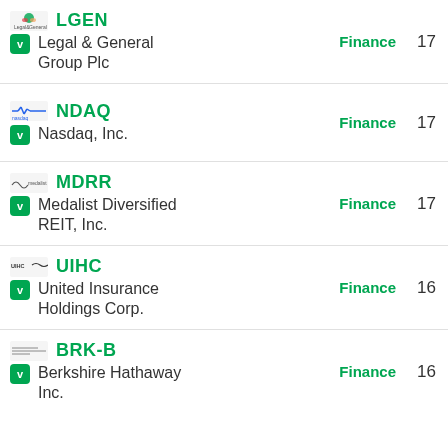| Logo | Ticker | Company | Category | Count |
| --- | --- | --- | --- | --- |
| LGEN logo | LGEN | Legal & General Group Plc | Finance | 17 |
| NDAQ logo | NDAQ | Nasdaq, Inc. | Finance | 17 |
| MDRR logo | MDRR | Medalist Diversified REIT, Inc. | Finance | 17 |
| UIHC logo | UIHC | United Insurance Holdings Corp. | Finance | 16 |
| BRK-B logo | BRK-B | Berkshire Hathaway Inc. | Finance | 16 |